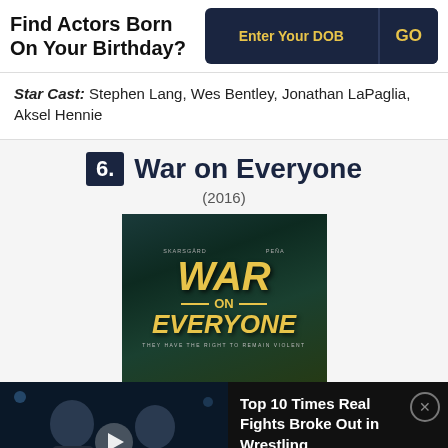Find Actors Born On Your Birthday?  Enter Your DOB  GO
Star Cast: Stephen Lang, Wes Bentley, Jonathan LaPaglia, Aksel Hennie
6. War on Everyone (2016)
[Figure (photo): Movie poster for 'War on Everyone' (2016) showing yellow text on dark green background with tagline 'They Have The Right To Remain Violent']
[Figure (screenshot): Video thumbnail showing two wrestlers facing each other with WatchMojo logo, with text overlay 'Top 10 Times Real Fights Broke Out in Wrestling']
Top 10 Times Real Fights Broke Out in Wrestling